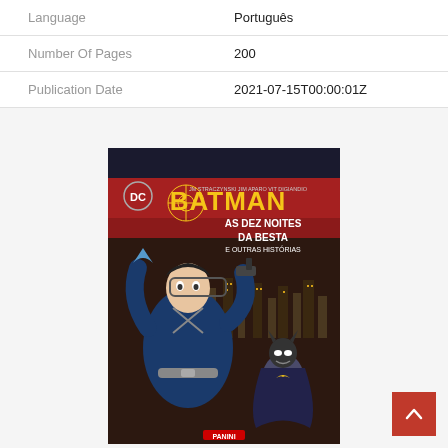| Field | Value |
| --- | --- |
| Language | Português |
| Number Of Pages | 200 |
| Publication Date | 2021-07-15T00:00:01Z |
[Figure (illustration): Book cover of Batman: As Dez Noites da Besta e Outras Histórias. Shows Batman and a villain in action against a city skyline with a red sky. DC Comics logo top left. Authors listed: JM Straczynski, Jim Aparo, Vit DiGiandio. Published by Panini.]